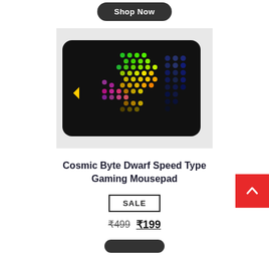Shop Now
[Figure (photo): Cosmic Byte Dwarf Speed Type Gaming Mousepad — a black mousepad with colorful hexagonal dot pattern in rainbow/gradient colors (green, yellow, purple, blue) on the surface.]
Cosmic Byte Dwarf Speed Type Gaming Mousepad
SALE
₹499 ₹199
Shop Now (partial button at bottom)